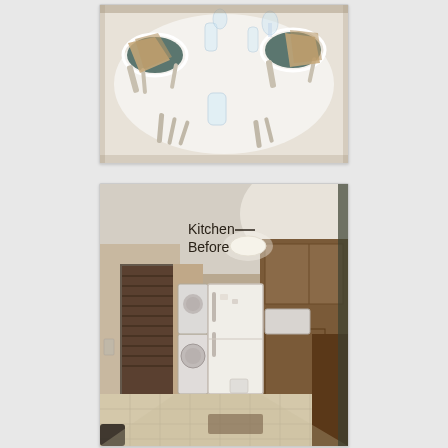[Figure (photo): Overhead view of a round dining table set with place settings: dark green plates with folded tan napkins, silverware (forks, knives, spoons), clear glasses, and a white tablecloth.]
[Figure (photo): Interior photo of a kitchen 'before' renovation. Text overlay reads 'Kitchen Before'. Shows a galley-style kitchen with wood cabinets, white refrigerator, washer/dryer visible through a doorway, white tile floor, ceiling light fixture, microwave, and a dark wood counter/island on the right.]